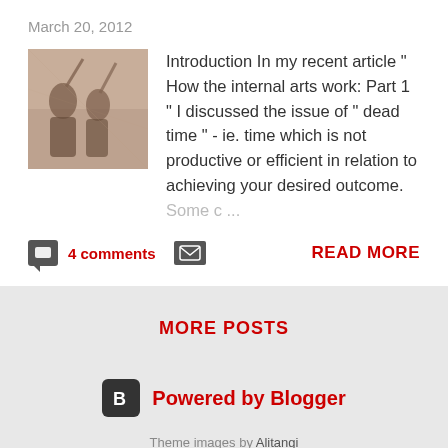March 20, 2012
[Figure (photo): Sepia-toned vintage photo showing soldiers or martial arts practitioners]
Introduction In my recent article " How the internal arts work: Part 1 " I discussed the issue of " dead time " - ie. time which is not productive or efficient in relation to achieving your desired outcome. Some c ...
4 comments
READ MORE
MORE POSTS
Powered by Blogger
Theme images by Alitangi